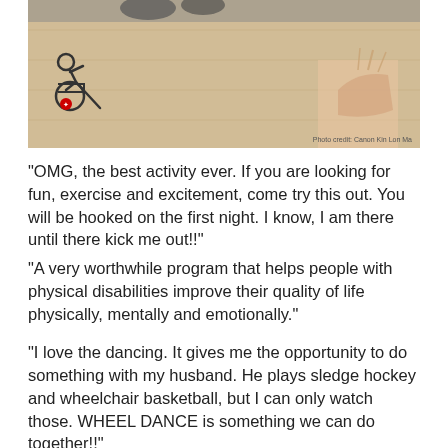[Figure (photo): Photo of a dance floor with a wheelchair and a person wearing dance heels with strappy sandals. A wheelchair dance logo (person in wheelchair dancing) with a Canadian maple leaf is overlaid on the lower left. Photo credit: Canon Kin Lon Ma]
Photo credit: Canon Kin Lon Ma
"OMG, the best activity ever. If you are looking for fun, exercise and excitement, come try this out. You will be hooked on the first night. I know, I am there until there kick me out!!"
"A very worthwhile program that helps people with physical disabilities improve their quality of life physically, mentally and emotionally."
"I love the dancing. It gives me the opportunity to do something with my husband. He plays sledge hockey and wheelchair basketball, but I can only watch those. WHEEL DANCE is something we can do together!!"